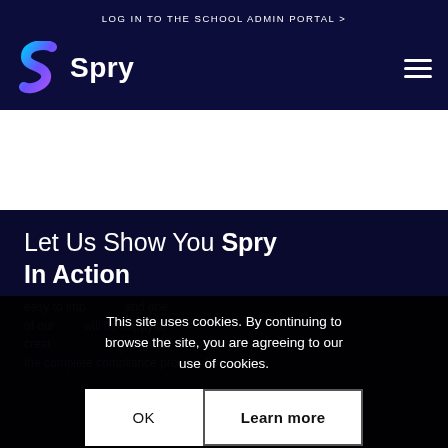LOG IN TO THE SCHOOL ADMIN PORTAL >
[Figure (logo): Spry logo with gradient S icon and white Spry wordmark on dark navy background]
Let Us Show You Spry In Action
easy to implement and one of our staff will be happy to create a personalized guide through the complete compliance process for
This site uses cookies. By continuing to browse the site, you are agreeing to our use of cookies.
OK
Learn more